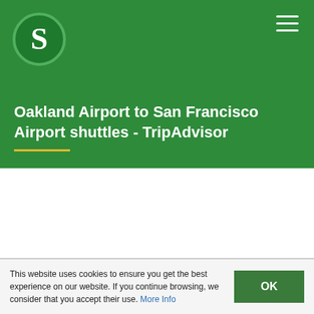[Figure (logo): Green circle with white letter S — website logo]
Oakland Airport to San Francisco Airport shuttles - TripAdvisor
This website uses cookies to ensure you get the best experience on our website. If you continue browsing, we consider that you accept their use. More Info